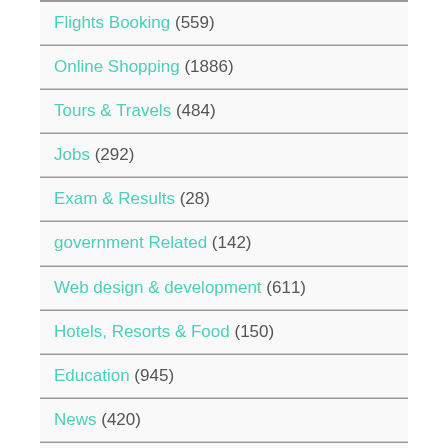Flights Booking (559)
Online Shopping (1886)
Tours & Travels (484)
Jobs (292)
Exam & Results (28)
government Related (142)
Web design & development (611)
Hotels, Resorts & Food (150)
Education (945)
News (420)
Banks (55)
Police & Crime (15)